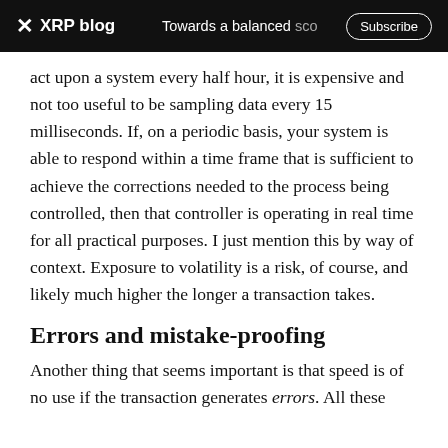XRP blog  Towards a balanced sco  Subscribe
act upon a system every half hour, it is expensive and not too useful to be sampling data every 15 milliseconds. If, on a periodic basis, your system is able to respond within a time frame that is sufficient to achieve the corrections needed to the process being controlled, then that controller is operating in real time for all practical purposes. I just mention this by way of context. Exposure to volatility is a risk, of course, and likely much higher the longer a transaction takes.
Errors and mistake-proofing
Another thing that seems important is that speed is of no use if the transaction generates errors. All these